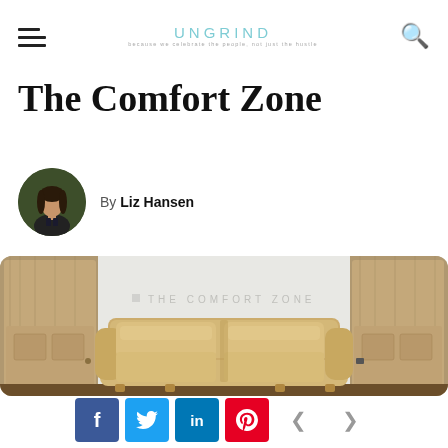UNGRIND (navigation bar with hamburger menu and search icon)
The Comfort Zone
By Liz Hansen
[Figure (photo): A cream/beige sofa in a room with wooden paneled walls and a white backdrop that reads 'THE COMFORT ZONE']
Social share buttons: Facebook, Twitter, LinkedIn, Pinterest, and navigation arrows